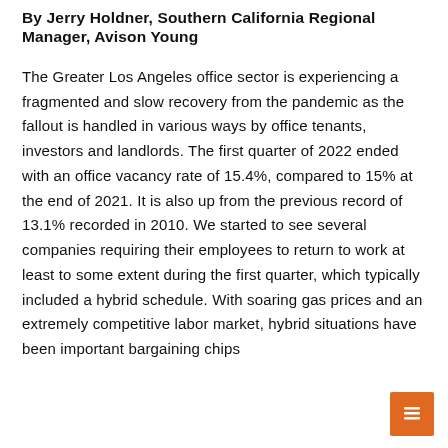By Jerry Holdner, Southern California Regional Manager, Avison Young
The Greater Los Angeles office sector is experiencing a fragmented and slow recovery from the pandemic as the fallout is handled in various ways by office tenants, investors and landlords. The first quarter of 2022 ended with an office vacancy rate of 15.4%, compared to 15% at the end of 2021. It is also up from the previous record of 13.1% recorded in 2010. We started to see several companies requiring their employees to return to work at least to some extent during the first quarter, which typically included a hybrid schedule. With soaring gas prices and an extremely competitive labor market, hybrid situations have been important bargaining chips